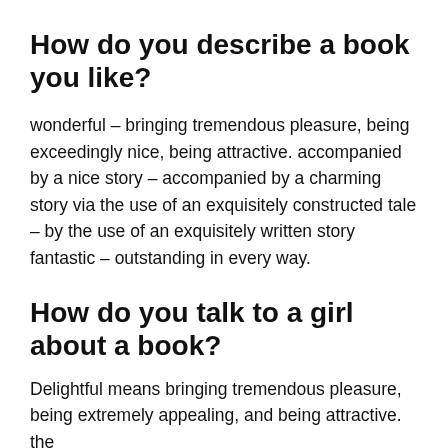How do you describe a book you like?
wonderful – bringing tremendous pleasure, being exceedingly nice, being attractive. accompanied by a nice story – accompanied by a charming story via the use of an exquisitely constructed tale – by the use of an exquisitely written story fantastic – outstanding in every way.
How do you talk to a girl about a book?
Delightful means bringing tremendous pleasure, being extremely appealing, and being attractive. the